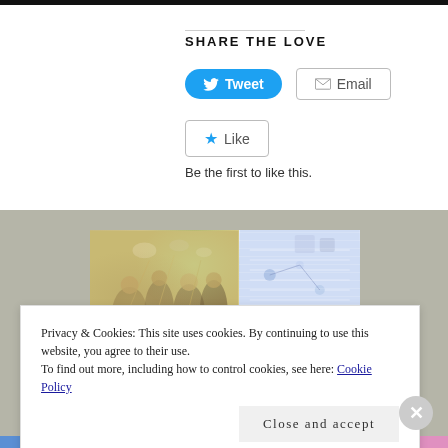SHARE THE LOVE
[Figure (screenshot): Tweet and Email share buttons followed by a Like button widget with 'Be the first to like this.' text]
[Figure (photo): Photo collage showing people at a celebration on the left, and a blurred network/tech scene on the right, on a gray background]
Privacy & Cookies: This site uses cookies. By continuing to use this website, you agree to their use.
To find out more, including how to control cookies, see here: Cookie Policy
Close and accept